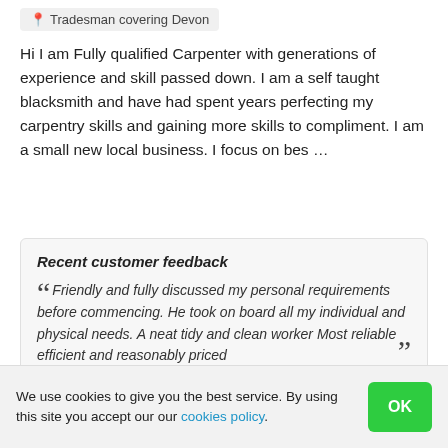📍 Tradesman covering Devon
Hi I am Fully qualified Carpenter with generations of experience and skill passed down. I am a self taught blacksmith and have had spent years perfecting my carpentry skills and gaining more skills to compliment. I am a small new local business. I focus on bes …
Recent customer feedback
Friendly and fully discussed my personal requirements before commencing. He took on board all my individual and physical needs. A neat tidy and clean worker Most reliable efficient and reasonably priced
We use cookies to give you the best service. By using this site you accept our our cookies policy.